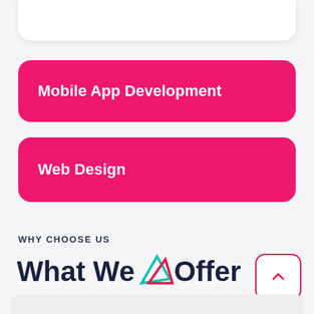Mobile App Development
Web Design
WHY CHOOSE US
What We Offer